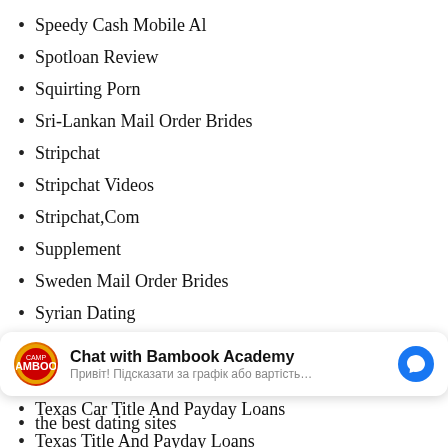Speedy Cash Mobile Al
Spotloan Review
Squirting Porn
Sri-Lankan Mail Order Brides
Stripchat
Stripchat Videos
Stripchat,Com
Supplement
Sweden Mail Order Brides
Syrian Dating
Taiwan Bride
ten best dating sites
Texas Car Title And Payday Loans
Texas Title And Payday Loans
Thai Brides Club
the best dating sites